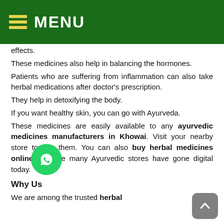MENU
effects.
These medicines also help in balancing the hormones.
Patients who are suffering from inflammation can also take herbal medications after doctor’s prescription.
They help in detoxifying the body.
If you want healthy skin, you can go with Ayurveda.
These medicines are easily available to any ayurvedic medicines manufacturers in Khowai. Visit your nearby store to buy them. You can also buy herbal medicines online because many Ayurvedic stores have gone digital today.
Why Us
We are among the trusted herbal